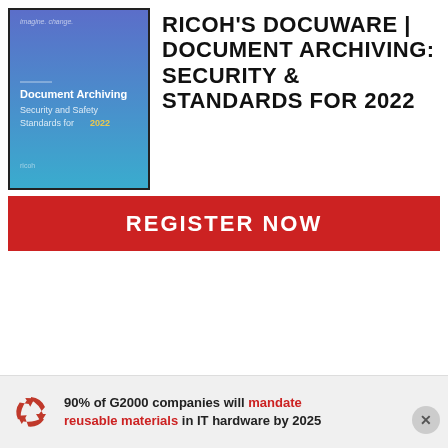[Figure (illustration): Book cover for 'Document Archiving Security and Safety Standards for 2022' with blue/purple gradient background and white text]
RICOH'S DOCUWARE | DOCUMENT ARCHIVING: SECURITY & STANDARDS FOR 2022
REGISTER NOW
90% of G2000 companies will mandate reusable materials in IT hardware by 2025